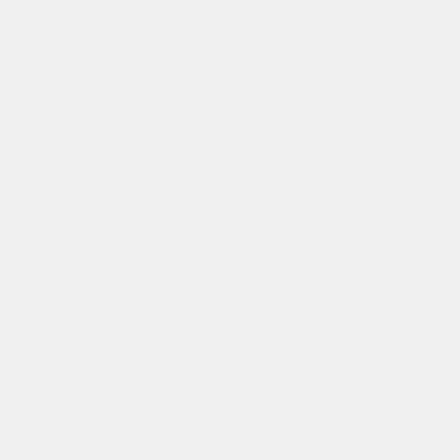Information—Section II
1.7 Peer Review of Highly Influential Scientific Assessments—Section III
1.8 Additional Peer Review Guidelines
1.9 Risk Assessment
2 Legislative History
2.1 Source Notes
3 Bibliography
3.1 Other Government Documents